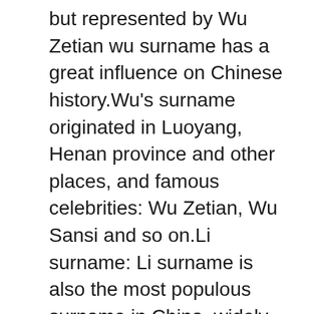but represented by Wu Zetian wu surname has a great influence on Chinese history.Wu's surname originated in Luoyang, Henan province and other places, and famous celebrities: Wu Zetian, Wu Sansi and so on.Li surname: Li surname is also the most populous surname in China, widely distributed in the north and south, and is also the surname of more emperors in China.Li names related to Shanxi are: Li Keyong, Li Cunxiao and so on.Of course, in addition to the above four surnames, there are some more influential in Shanxi.Such as Yang surname (Yang Ye, Yang Wenguang), Sima surname (Sima Guang), Luo surname (Luo Guanzhong).What other surnames do you know have some influence in Shanxi?Feel free to leave a comment.